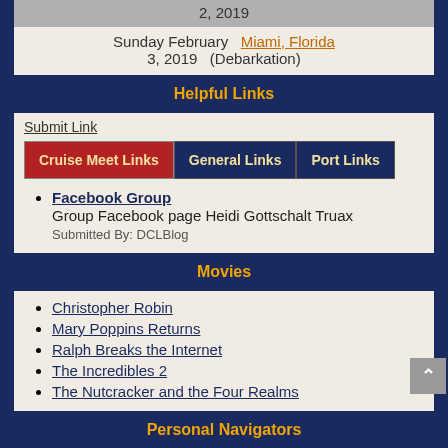2, 2019
Sunday February  Miami, Florida  3, 2019  (Debarkation)
Helpful Links
Submit Link
Cruise Meet Links  General Links  Port Links
Facebook Group
Group Facebook page Heidi Gottschalt Truax
Submitted By: DCLBlog
Movies
Christopher Robin
Mary Poppins Returns
Ralph Breaks the Internet
The Incredibles 2
The Nutcracker and the Four Realms
Personal Navigators
Here are some Personal Navigators from past